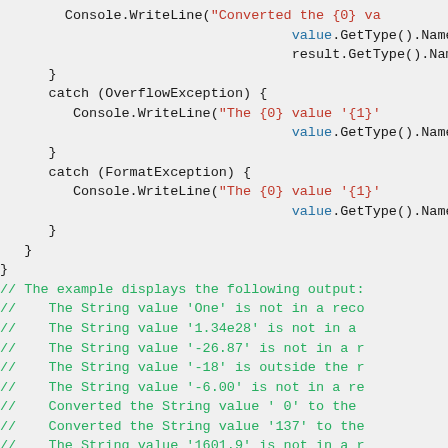[Figure (screenshot): Code snippet in C# showing try/catch blocks for OverflowException and FormatException, followed by green comment lines showing example output of the program.]